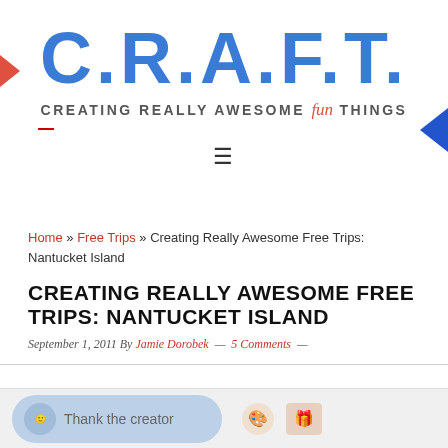C.R.A.F.T. — CREATING REALLY AWESOME fun THINGS
Home » Free Trips » Creating Really Awesome Free Trips: Nantucket Island
CREATING REALLY AWESOME FREE TRIPS: NANTUCKET ISLAND
September 1, 2011 By Jamie Dorobek — 5 Comments —